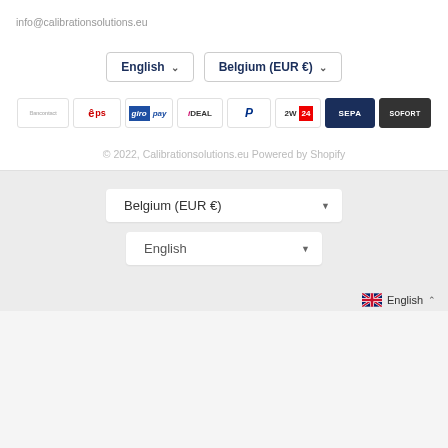info@calibrationsolutions.eu
[Figure (screenshot): Two dropdown buttons: 'English' and 'Belgium (EUR €)' with chevron arrows, white background with border]
[Figure (screenshot): Row of payment method badges: Bancontact, EPS, Giropay, iDEAL, PayPal, 2W24, SEPA, SOFORT]
© 2022, Calibrationsolutions.eu Powered by Shopify
[Figure (screenshot): Dropdown selector showing 'Belgium (EUR €)' with down arrow]
[Figure (screenshot): Dropdown selector showing 'English' with down arrow]
English